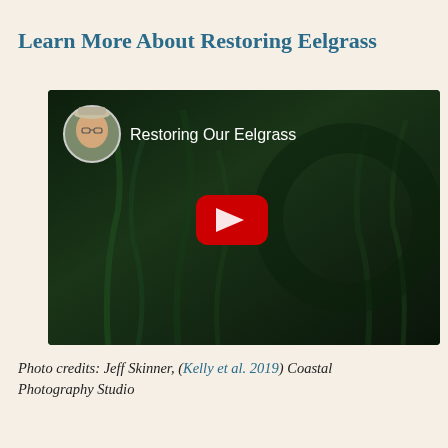Learn More About Restoring Eelgrass
[Figure (screenshot): YouTube video thumbnail titled 'Restoring Our Eelgrass' showing a dark green underwater eelgrass scene with a circular avatar of a man in a hat in the top-left corner and a red YouTube play button in the center.]
Photo credits: Jeff Skinner, (Kelly et al. 2019) Coastal Photography Studio